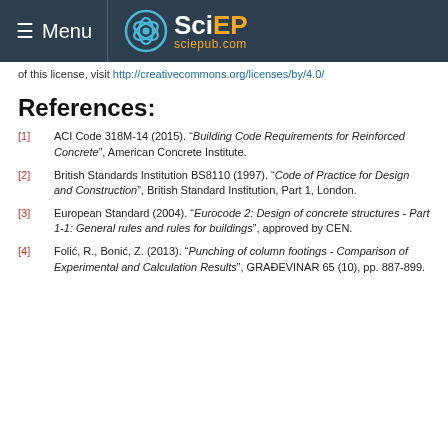Menu | SciEP sciepub.com
of this license, visit http://creativecommons.org/licenses/by/4.0/
References:
[1] ACI Code 318M-14 (2015). “Building Code Requirements for Reinforced Concrete”, American Concrete Institute.
[2] British Standards Institution BS8110 (1997). “Code of Practice for Design and Construction”, British Standard Institution, Part 1, London.
[3] European Standard (2004). “Eurocode 2: Design of concrete structures - Part 1-1: General rules and rules for buildings”, approved by CEN.
[4] Folić, R., Bonić, Z. (2013). “Punching of column footings - Comparison of Experimental and Calculation Results”, GRAĐEVINAR 65 (10), pp. 887-899.